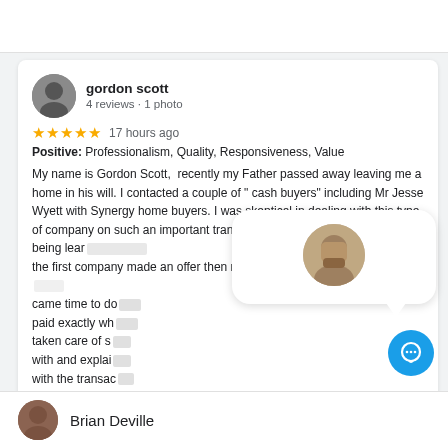[Figure (screenshot): Top white bar, partial content from previous section]
gordon scott
4 reviews · 1 photo
★★★★★ 17 hours ago
Positive: Professionalism, Quality, Responsiveness, Value
My name is Gordon Scott, recently my Father passed away leaving me a home in his will. I contacted a couple of " cash buyers" including Mr Jesse Wyett with Synergy home buyers. I was skeptical in dealing with this type of company on such an important transaction & found out I was correct in being lean the first company made an offer then reduced the offer by almost ha came time to do paid exactly wh taken care of s with and explai with the transac Synergy. Befor him ! Thank yo
[Figure (photo): Popup bubble with a man's profile photo]
[Figure (other): Blue circular chat button with speech bubble icon]
Brian Deville